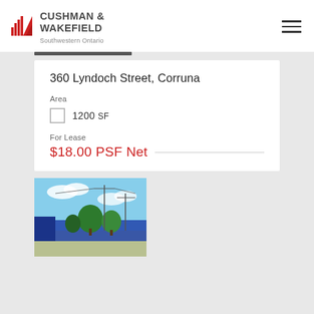[Figure (logo): Cushman & Wakefield logo with red building icon and text 'CUSHMAN & WAKEFIELD' and subtitle 'Southwestern Ontario']
360 Lyndoch Street, Corruna
Area
1200 SF
For Lease
$18.00 PSF Net
[Figure (photo): Exterior photo of a commercial property at 360 Lyndoch Street, Corruna, showing a building with trees, utility poles, and a blue sky with clouds.]